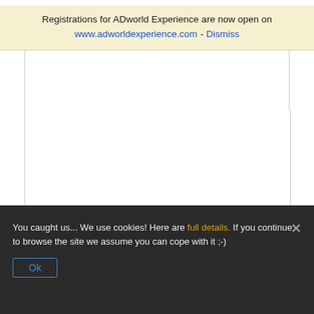Registrations for ADworld Experience are now open on www.adworldexperience.com - Dismiss
You caught us... We use cookies! Here are full details. If you continue to browse the site we assume you can cope with it ;-)
Ok